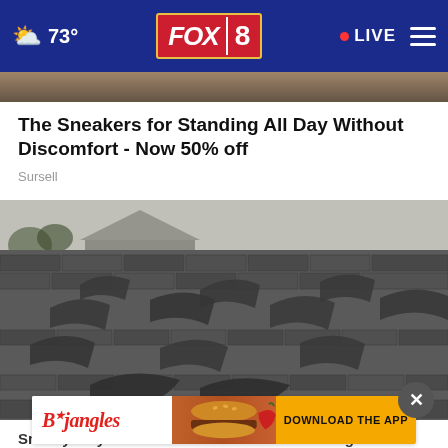73° FOX 8 · LIVE
[Figure (photo): Partial top strip showing roof/image from article above]
The Sneakers for Standing All Day Without Discomfort - Now 50% off
Sursell
[Figure (photo): Close-up photograph of damaged roof shingles curling and peeling off a residential roof, black and white/gray tones]
[Figure (other): Bojangles advertisement banner with logo, food image, and DOWNLOAD THE APP call to action]
Sneaky Way Ashburn Homeowners Are Getting